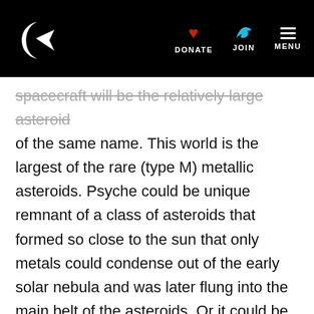DONATE JOIN MENU
spacecraft will be the relatively large asteroid of the same name. This world is the largest of the rare (type M) metallic asteroids. Psyche could be unique remnant of a class of asteroids that formed so close to the sun that only metals could condense out of the early solar nebula and was later flung into the main belt of the asteroids. Or it could be the inner, metallic core of a once larger protoplanet that had its overlying layers of rock and possibly ice blasted off by impacts with other asteroids.